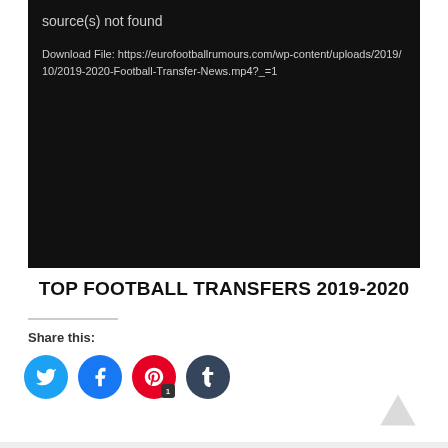[Figure (screenshot): Dark black video player area showing error: 'source(s) not found' with a download file URL: https://eurofootballrumours.com/wp-content/uploads/2019/10/2019-2020-Football-Transfer-News.mp4?_=1]
TOP FOOTBALL TRANSFERS 2019-2020
Share this: